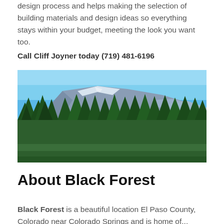design process and helps making the selection of building materials and design ideas so everything stays within your budget, meeting the look you want too.
Call Cliff Joyner today (719) 481-6196
[Figure (photo): Landscape photo showing Pikes Peak mountain with blue sky and pine trees in the foreground, Black Forest area, Colorado.]
About Black Forest
Black Forest is a beautiful location El Paso County, Colorado near Colorado Springs and is home of...